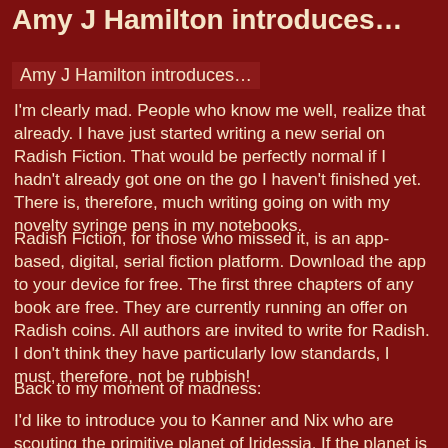Amy J Hamilton introduces…
Amy J Hamilton introduces…
I'm clearly mad. People who know me well, realize that already. I have just started writing a new serial on Radish Fiction. That would be perfectly normal if I hadn't already got one on the go I haven't finished yet. There is, therefore, much writing going on with my novelty syringe pens in my notebooks.
Radish Fiction, for those who missed it, is an app-based, digital, serial fiction platform. Download the app to your device for free. The first three chapters of any book are free. They are currently running an offer on Radish coins. All authors are invited to write for Radish. I don't think they have particularly low standards, I must, therefore, not be rubbish!
Back to my moment of madness:
I'd like to introduce you to Kanner and Nix who are scouting the primitive planet of Iridessia. If the planet is suitable for